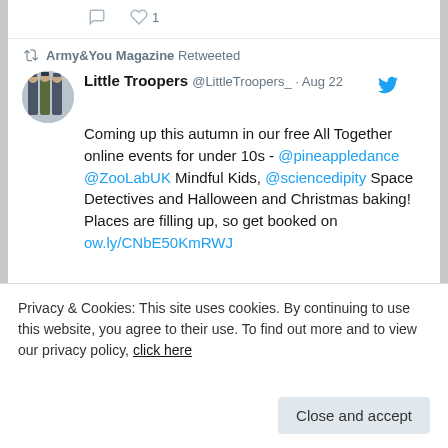Army&You Magazine Retweeted
Little Troopers @LittleTroopers_ · Aug 22
Coming up this autumn in our free All Together online events for under 10s - @pineappledance @ZooLabUK Mindful Kids, @sciencedipity Space Detectives and Halloween and Christmas baking! Places are filling up, so get booked on ow.ly/CNbE50KmRWJ
[Figure (illustration): All Together logo with illustrated children holding hands in a circle, handwritten text 'All Together' in navy blue]
Privacy & Cookies: This site uses cookies. By continuing to use this website, you agree to their use. To find out more and to view our privacy policy, click here
Close and accept